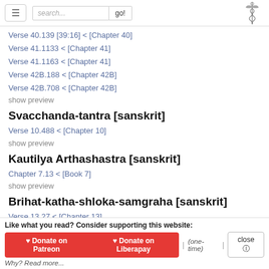search... go!
Verse 40.139 [39:16] < [Chapter 40]
Verse 41.1133 < [Chapter 41]
Verse 41.1163 < [Chapter 41]
Verse 42B.188 < [Chapter 42B]
Verse 42B.708 < [Chapter 42B]
show preview
Svacchanda-tantra [sanskrit]
Verse 10.488 < [Chapter 10]
show preview
Kautilya Arthashastra [sanskrit]
Chapter 7.13 < [Book 7]
show preview
Brihat-katha-shloka-samgraha [sanskrit]
Verse 13.27 < [Chapter 13]
Verse 13.28 < [Chapter 13]
Like what you read? Consider supporting this website:
Donate on Patreon | Donate on Liberapay | (one-time) | close
Why? Read more...